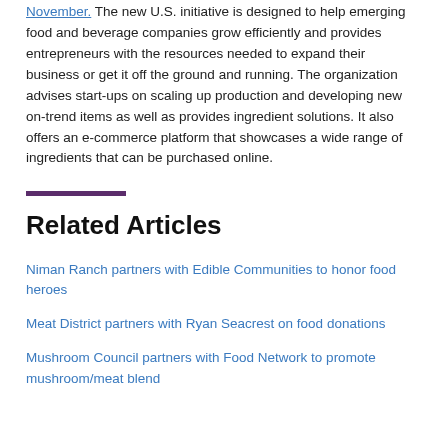November. The new U.S. initiative is designed to help emerging food and beverage companies grow efficiently and provides entrepreneurs with the resources needed to expand their business or get it off the ground and running. The organization advises start-ups on scaling up production and developing new on-trend items as well as provides ingredient solutions. It also offers an e-commerce platform that showcases a wide range of ingredients that can be purchased online.
Related Articles
Niman Ranch partners with Edible Communities to honor food heroes
Meat District partners with Ryan Seacrest on food donations
Mushroom Council partners with Food Network to promote mushroom/meat blend